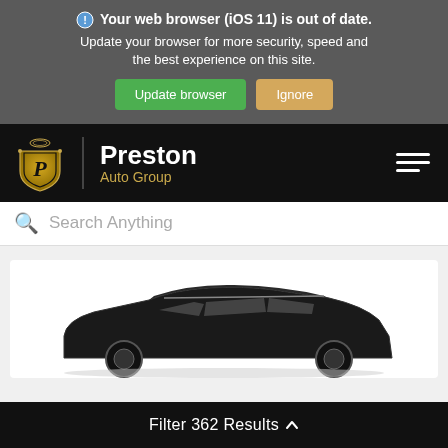Your web browser (iOS 11) is out of date. Update your browser for more security, speed and the best experience on this site.
Update browser   Ignore
[Figure (logo): Preston Auto Group logo with shield emblem and brand name in white and gold]
Search Anything
[Figure (photo): Partial view of a dark-colored SUV/crossover vehicle from the side, showing roof and upper body]
Filter 362 Results ^